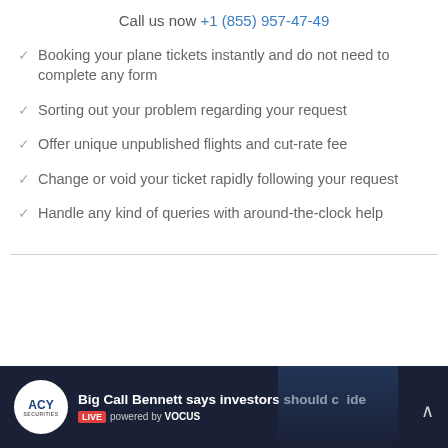Call us now +1 (855) 957-47-49
Booking your plane tickets instantly and do not need to complete any form
Sorting out your problem regarding your request
Offer unique unpublished flights and cut-rate fee
Change or void your ticket rapidly following your request
Handle any kind of queries with around-the-clock help
[Figure (screenshot): Video banner showing ACY Securities logo and text 'Big Call Bennett says investors should c...ide' with LIVE powered by VOCUS label on dark background]